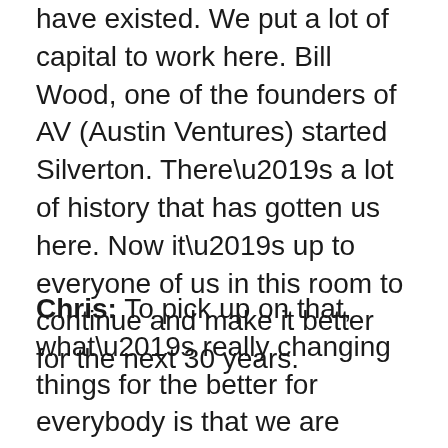have existed. We put a lot of capital to work here. Bill Wood, one of the founders of AV (Austin Ventures) started Silverton. There’s a lot of history that has gotten us here. Now it’s up to everyone of us in this room to continue and make it better for the next 30 years.
Chris: To pick up on that, what’s really changing things for the better for everybody is that we are manufacturing a lot of smaller exits.